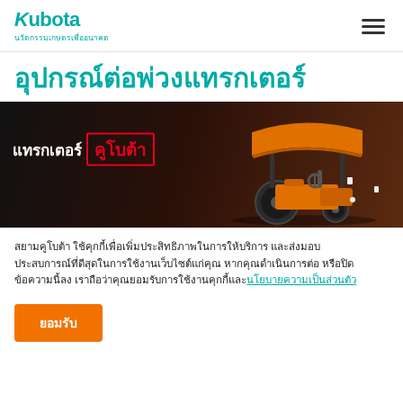Kubota นวัตกรรมเกษตรเพื่ออนาคต
อุปกรณ์ต่อพ่วงแทรกเตอร์
[Figure (photo): Dark background banner with white and red Thai text 'แทรกเตอร์ คูโบต้า' on the left and an orange Kubota tractor with canopy on the right]
สยามคูโบต้า ใช้คุกกี้เพื่อเพิ่มประสิทธิภาพในการให้บริการ และส่งมอบประสบการณ์ที่ดีสุดในการใช้งานเว็บไซต์แก่คุณ หากคุณดำเนินการต่อ หรือปิดข้อความนี้ลง เราถือว่าคุณยอมรับการใช้งานคุกกี้และนโยบายความเป็นส่วนตัว
ยอมรับ